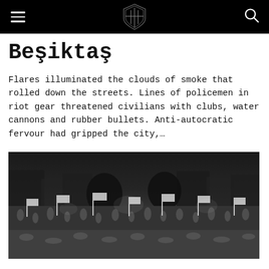Beşiktaş — navigation bar with menu icon, shield logo, and search icon
Beşiktaş
Flares illuminated the clouds of smoke that rolled down the streets. Lines of policemen in riot gear threatened civilians with clubs, water cannons and rubber bullets. Anti-autocratic fervour had gripped the city,…
[Figure (photo): Black and white photograph of a large crowd with flags and banners filling the streets, viewed from above.]